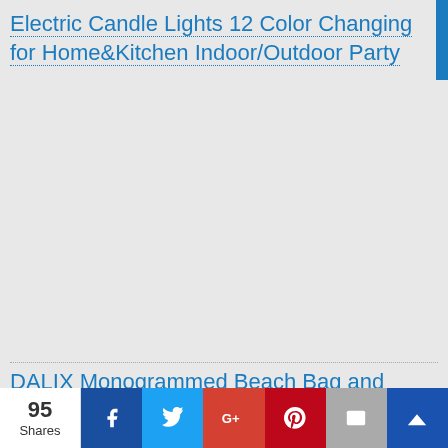Electric Candle Lights 12 Color Changing for Home&Kitchen Indoor/Outdoor Party
DALIX Monogrammed Beach Bag and Totes for
95 Shares
[Figure (other): Social share bar with Facebook, Twitter, Google+, Pinterest, Email, and Bookmark buttons]